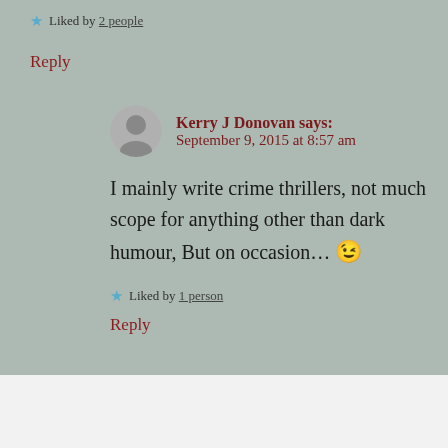★ Liked by 2 people
Reply
[Figure (photo): Avatar of Kerry J Donovan — circular profile photo of a person]
Kerry J Donovan says: September 9, 2015 at 8:57 am
I mainly write crime thrillers, not much scope for anything other than dark humour, But on occasion... 😉
★ Liked by 1 person
Reply
Advertisements
[Figure (screenshot): WordPress.com advertisement banner: Simplified pricing for everything you need. WordPress.com logo.]